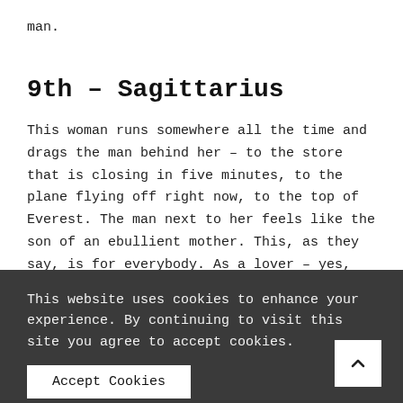man.
9th – Sagittarius
This woman runs somewhere all the time and drags the man behind her – to the store that is closing in five minutes, to the plane flying off right now, to the top of Everest. The man next to her feels like the son of an ebullient mother. This, as they say, is for everybody. As a lover – yes, perhaps, but not for long. You can be very tired.
This website uses cookies to enhance your experience. By continuing to visit this site you agree to accept cookies.